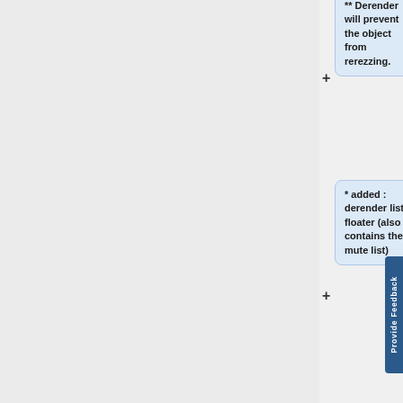** Derender will prevent the object from rerezzing.
* added : derender list floater (also contains the mute list)
* added : the ability to remove entries from the derender list and have them reappear in-world without requiring a teleport/relog
* added : persistent